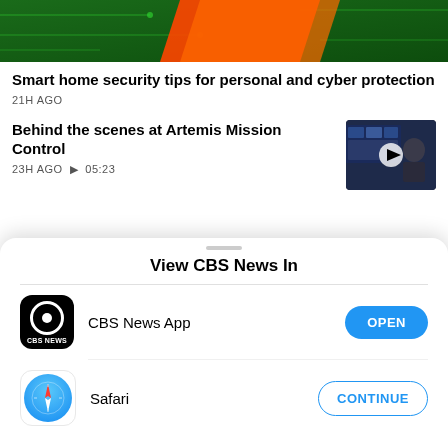[Figure (photo): Hero image showing a circuit board with red/orange and green elements]
Smart home security tips for personal and cyber protection
21H AGO
Behind the scenes at Artemis Mission Control
23H AGO ▶ 05:23
[Figure (photo): Thumbnail of Artemis Mission Control with a person in front of screens and a play button overlay]
View CBS News In
CBS News App
OPEN
Safari
CONTINUE